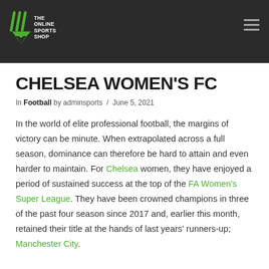THE ONLINE SPORTS SHOP
CHELSEA WOMEN'S FC
In Football by adminsports / June 5, 2021
In the world of elite professional football, the margins of victory can be minute. When extrapolated across a full season, dominance can therefore be hard to attain and even harder to maintain. For Chelsea women, they have enjoyed a period of sustained success at the top of the FA Women's Super League. They have been crowned champions in three of the past four season since 2017 and, earlier this month, retained their title at the hands of last years' runners-up; Manchester City.